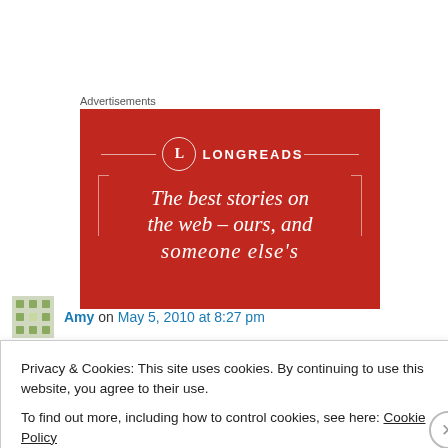[Figure (illustration): Longreads advertisement banner with red background. Shows the Longreads logo (circle with L) and text 'The best stories on the web – ours, and someone else's' in white serif italic font.]
Amy on May 5, 2010 at 8:27 pm
Privacy & Cookies: This site uses cookies. By continuing to use this website, you agree to their use.
To find out more, including how to control cookies, see here: Cookie Policy